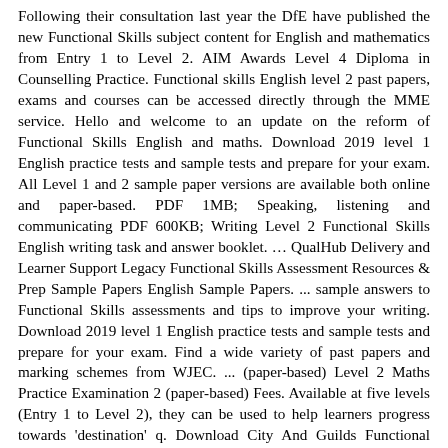Following their consultation last year the DfE have published the new Functional Skills subject content for English and mathematics from Entry 1 to Level 2. AIM Awards Level 4 Diploma in Counselling Practice. Functional skills English level 2 past papers, exams and courses can be accessed directly through the MME service. Hello and welcome to an update on the reform of Functional Skills English and maths. Download 2019 level 1 English practice tests and sample tests and prepare for your exam. All Level 1 and 2 sample paper versions are available both online and paper-based. PDF 1MB; Speaking, listening and communicating PDF 600KB; Writing Level 2 Functional Skills English writing task and answer booklet. … QualHub Delivery and Learner Support Legacy Functional Skills Assessment Resources & Prep Sample Papers English Sample Papers. ... sample answers to Functional Skills assessments and tips to improve your writing. Download 2019 level 1 English practice tests and sample tests and prepare for your exam. Find a wide variety of past papers and marking schemes from WJEC. ... (paper-based) Level 2 Maths Practice Examination 2 (paper-based) Fees. Available at five levels (Entry 1 to Level 2), they can be used to help learners progress towards 'destination' q. Download City And Guilds Functional Skills Maths Level 2 Past Papers Answers: FileName. View our interactive offer document (PDF, 0.8 MB). This qualification is designed for learners who wish to develop their skills in English to help them gain the most from work, education and everyday life. We recommend using past papers by the same awarding body as